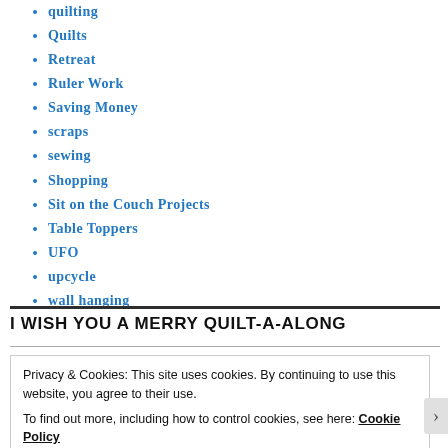quilting
Quilts
Retreat
Ruler Work
Saving Money
scraps
sewing
Shopping
Sit on the Couch Projects
Table Toppers
UFO
upcycle
wall hanging
I WISH YOU A MERRY QUILT-A-ALONG
Privacy & Cookies: This site uses cookies. By continuing to use this website, you agree to their use.
To find out more, including how to control cookies, see here: Cookie Policy